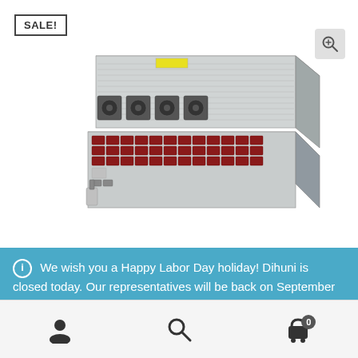[Figure (photo): Server hardware product photo showing a rack-mounted server unit with drive bays and cooling fans partially extended]
SALE!
We wish you a Happy Labor Day holiday! Dihuni is closed today. Our representatives will be back on September 6th so our responses will be delayed until then. Thank you. Dismiss